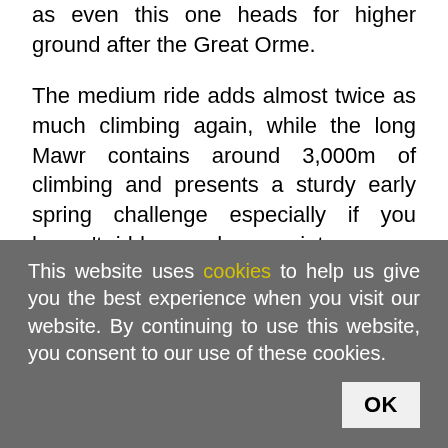as even this one heads for higher ground after the Great Orme.
The medium ride adds almost twice as much climbing again, while the long Mawr contains around 3,000m of climbing and presents a sturdy early spring challenge especially if you haven't ridden much over winter.
If you have the legs for it and the sense not to try to smash the ride out inside five hours, the Mawr would be a great way to start the season.
This website uses cookies to help us give you the best experience when you visit our website. By continuing to use this website, you consent to our use of these cookies.